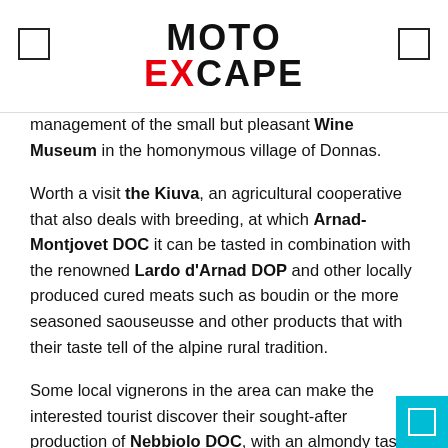MOTO EXCAPE
management of the small but pleasant Wine Museum in the homonymous village of Donnas.
Worth a visit the Kiuva, an agricultural cooperative that also deals with breeding, at which Arnad-Montjovet DOC it can be tasted in combination with the renowned Lardo d'Arnad DOP and other locally produced cured meats such as boudin or the more seasoned saouseusse and other products that with their taste tell of the alpine rural tradition.
Some local vignerons in the area can make the interested tourist discover their sought-after production of Nebbiolo DOC, with an almondy taste, full-bodied, with a tannic finish.
The tourist offer for the main wine-growing regions of Val...